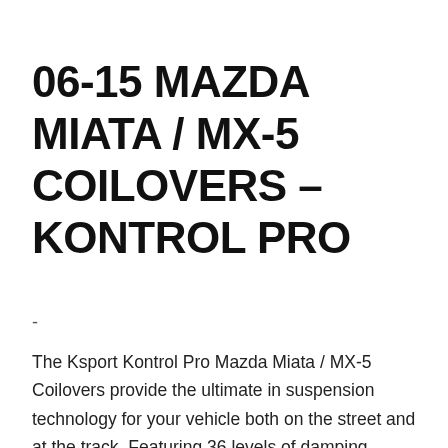06-15 MAZDA MIATA / MX-5 COILOVERS – KONTROL PRO
-
The Ksport Kontrol Pro Mazda Miata / MX-5 Coilovers provide the ultimate in suspension technology for your vehicle both on the street and at the track. Featuring 36 levels of damping adjustment, Kontrol Pro allows you to easily dial in your system for both handling and comfort. For those seeking a lowered stance as well as improved handling and response at a high value, the Ksport Kontrol Pro Coilover Kit is the perfect choice.